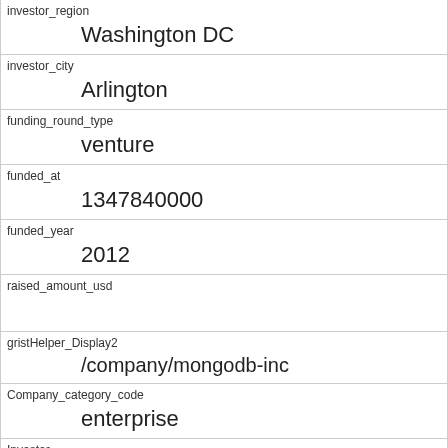| investor_region | Washington DC |
| investor_city | Arlington |
| funding_round_type | venture |
| funded_at | 1347840000 |
| funded_year | 2012 |
| raised_amount_usd |  |
| gristHelper_Display2 | /company/mongodb-inc |
| Company_category_code | enterprise |
| Investor | In-Q-Tel https://www.crunchbase.com/financial-organization/in-q-tel |